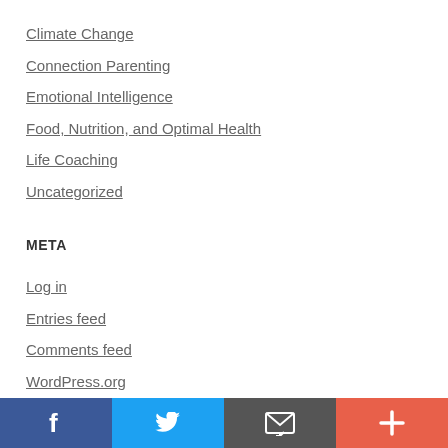Climate Change
Connection Parenting
Emotional Intelligence
Food, Nutrition, and Optimal Health
Life Coaching
Uncategorized
META
Log in
Entries feed
Comments feed
WordPress.org
Facebook | Twitter | Email | Plus